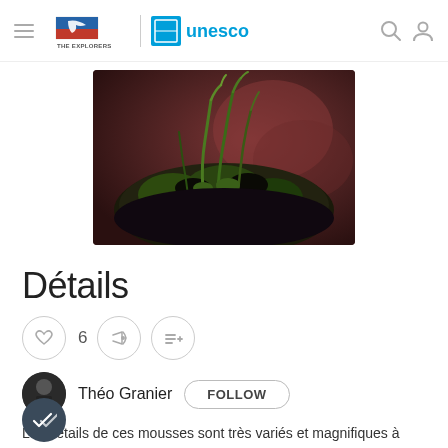THE EXPLORERS | UNESCO navigation header
[Figure (photo): Close-up macro photograph of green moss or lichen growing on a dark surface, with reddish-brown blurred background]
Détails
[Figure (infographic): Action row with heart/like icon (6 likes), share icon, and add-to-list icon buttons]
Théo Granier  FOLLOW
Les détails de ces mousses sont très variés et magnifiques à